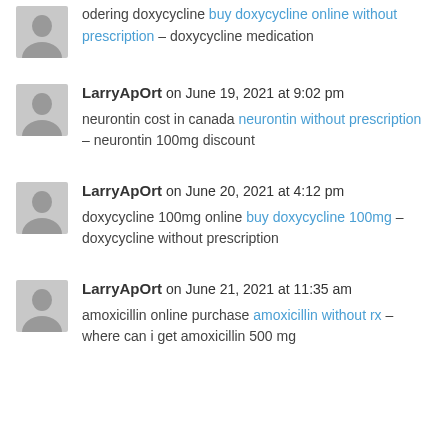odering doxycycline buy doxycycline online without prescription – doxycycline medication
LarryApOrt on June 19, 2021 at 9:02 pm
neurontin cost in canada neurontin without prescription – neurontin 100mg discount
LarryApOrt on June 20, 2021 at 4:12 pm
doxycycline 100mg online buy doxycycline 100mg – doxycycline without prescription
LarryApOrt on June 21, 2021 at 11:35 am
amoxicillin online purchase amoxicillin without rx – where can i get amoxicillin 500 mg